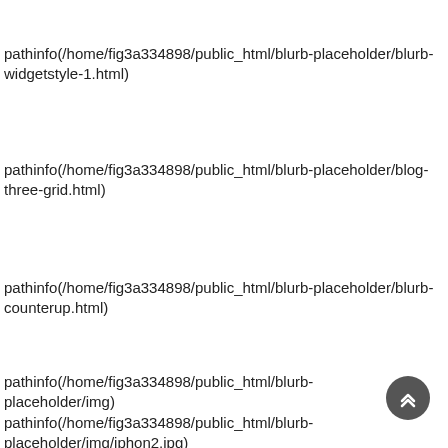pathinfo(/home/fig3a334898/public_html/blurb-placeholder/blurb-widgetstyle-1.html)
pathinfo(/home/fig3a334898/public_html/blurb-placeholder/blog-three-grid.html)
pathinfo(/home/fig3a334898/public_html/blurb-placeholder/blurb-counterup.html)
pathinfo(/home/fig3a334898/public_html/blurb-placeholder/img)
pathinfo(/home/fig3a334898/public_html/blurb-placeholder/img/iphon2.jpg)
pathinfo(/home/fig3a334898/public_html/blurb-placeholder/img/call-to-action-bg.jpg)